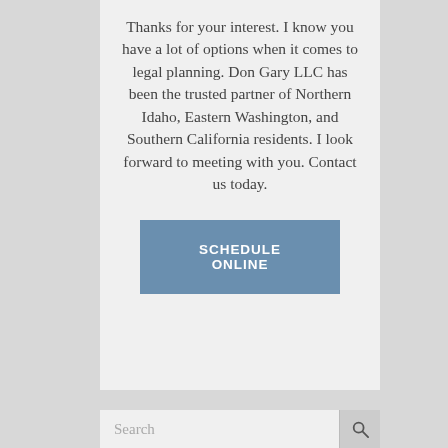Thanks for your interest. I know you have a lot of options when it comes to legal planning. Don Gary LLC has been the trusted partner of Northern Idaho, Eastern Washington, and Southern California residents. I look forward to meeting with you. Contact us today.
[Figure (other): SCHEDULE ONLINE button — a rectangular steel-blue button with white bold uppercase text]